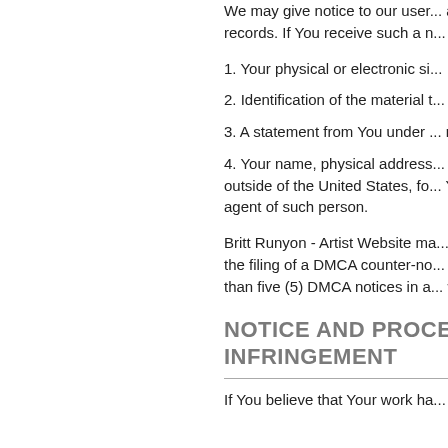We may give notice to our users by email address in our records, or by w... records. If You receive such a n... Agent. To be effective, the cou...
1. Your physical or electronic si...
2. Identification of the material t... which the material appeared be...
3. A statement from You under ... removed or disabled as a resul...
4. Your name, physical address... Federal District Court for the ju... outside of the United States, fo... You will accept service or proce... agent of such person.
Britt Runyon - Artist Website ma... notices.   In the event a user's n... the filing of a DMCA counter-no... withdrawn.   Britt Runyon - Artis... than five (5) DMCA notices in a... willfully disregarding Britt Runy...
NOTICE AND PROCEDU... INFRINGEMENT
If You believe that Your work ha...